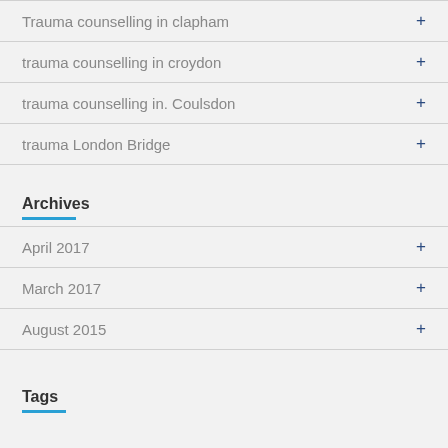Trauma counselling in clapham
trauma counselling in croydon
trauma counselling in. Coulsdon
trauma London Bridge
Archives
April 2017
March 2017
August 2015
Tags